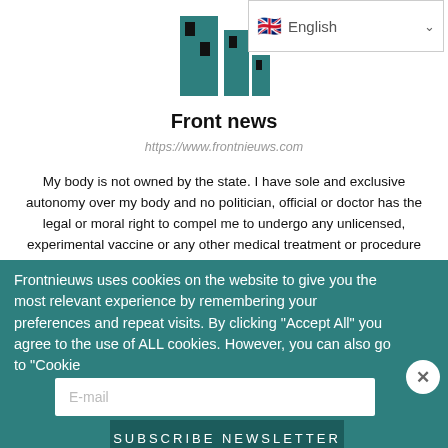[Figure (logo): Frontnieuws website logo — teal building/newspaper icon]
[Figure (screenshot): Language selector dropdown showing UK flag and 'English' with chevron]
Front news
https://www.frontnieuws.com
My body is not owned by the state. I have sole and exclusive autonomy over my body and no politician, official or doctor has the legal or moral right to compel me to undergo any unlicensed, experimental vaccine or any other medical treatment or procedure without my specific and informed consent . The decision is mine and mine alone and I will not submit to blackmail by the government or
Frontnieuws uses cookies on the website to give you the most relevant experience by remembering your preferences and repeat visits. By clicking "Accept All" you agree to the use of ALL cookies. However, you can also go to "Cookie
E-mail
Subscribe Newsletter